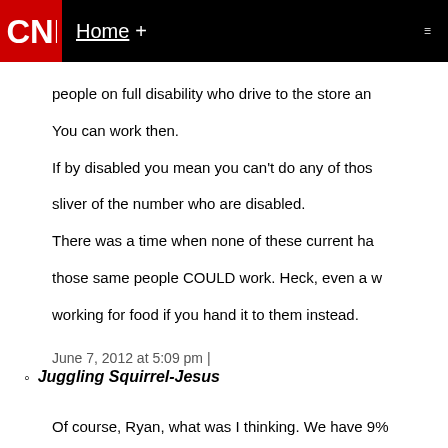CNN | Home +
people on full disability who drive to the store and You can work then.
If by disabled you mean you can't do any of those sliver of the number who are disabled.
There was a time when none of these current ha those same people COULD work. Heck, even a w working for food if you hand it to them instead.
June 7, 2012 at 5:09 pm |
Juggling Squirrel-Jesus
Of course, Ryan, what was I thinking. We have 9% country, but there's more than enough jobs out th wage for everyone. Those that are unemployed a

I'm so glad I'm an atheist. At least reading some me entirely devoid of empathy.
June 7, 2012 at 5:17 pm |
Juggling Squirrel-Jesus